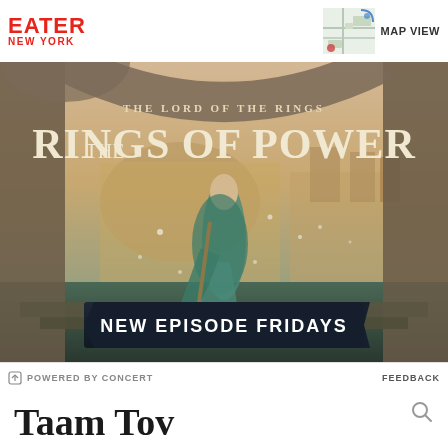EATER NEW YORK
[Figure (photo): Advertisement for Amazon Prime Video's 'The Lord of the Rings: The Rings of Power' showing a woman in a teal gown standing on a balcony with a fantasy city in the background. Text reads 'THE LORD OF THE RINGS THE RINGS OF POWER' and 'NEW EPISODE FRIDAYS']
POWERED BY CONCERT   FEEDBACK
Taam Tov